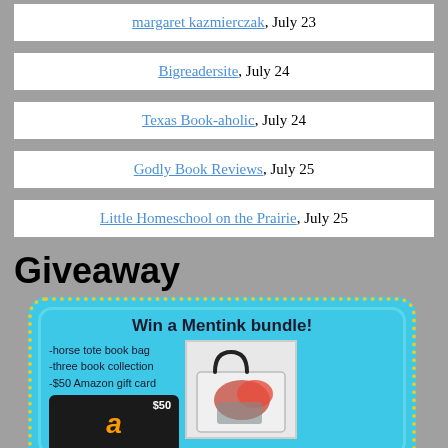margaret kazmierczak, July 23
Bigreadersite, July 24
Texas Book-aholic, July 24
Godly Book Reviews, July 25
Little Homeschool on the Prairie, July 25
Giveaway
[Figure (infographic): Giveaway banner: Win a Mentink bundle! Includes horse tote book bag, three book collection, $50 Amazon gift card. Shows an Amazon gift card and a tote bag with horse design.]